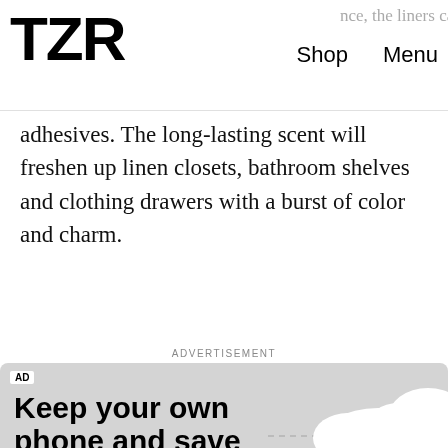TZR | Shop | Menu
adhesives. The long-lasting scent will freshen up linen closets, bathroom shelves and clothing drawers with a burst of color and charm.
ADVERTISEMENT
[Figure (screenshot): Advertisement for a mobile carrier. Headline: Keep your own phone and save. Subtext: Get a better plan with Nationwide 5G† Coverage. Disclaimer: †5G capable device required. Actual availability, coverage and speed may vary. A month equals 30 days. Button: LEARN MORE. Gray background with white cloud shapes.]